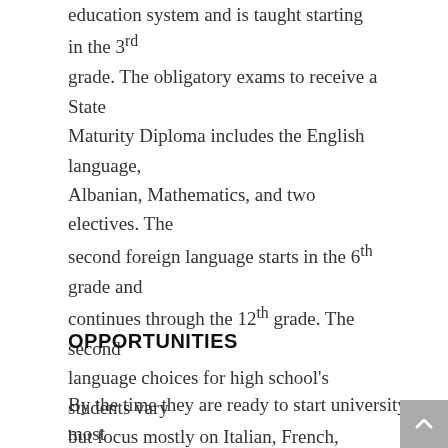education system and is taught starting in the 3rd grade. The obligatory exams to receive a State Maturity Diploma includes the English language, Albanian, Mathematics, and two electives. The second foreign language starts in the 6th grade and continues through the 12th grade. The second language choices for high school's students vary but focus mostly on Italian, French, German, and Spanish. This linguistic ability gives Albanian students a competitive advantage.
OPPORTUNITIES
By the time they are ready to start university most